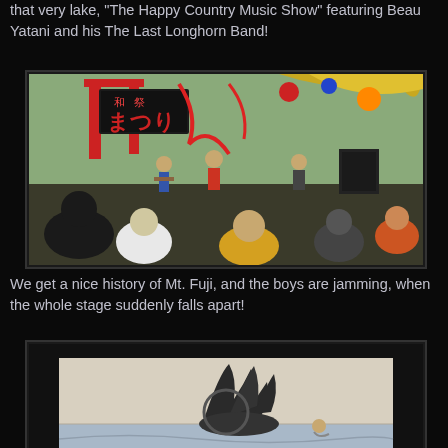that very lake, "The Happy Country Music Show" featuring Beau Yatani and his The Last Longhorn Band!
[Figure (photo): Color photograph of a band performing on a decorated stage at a Japanese festival (matsuri), with red banners and Japanese characters visible, audience members watching in foreground.]
We get a nice history of Mt. Fuji, and the boys are jamming, when the whole stage suddenly falls apart!
[Figure (photo): Black and white photograph of what appears to be a monster or creature with fins/flippers in a lake or body of water, with a person visible nearby.]
The people all go into a panic when they see the monster, but it just turns out to be a prank by some of the local boys!!